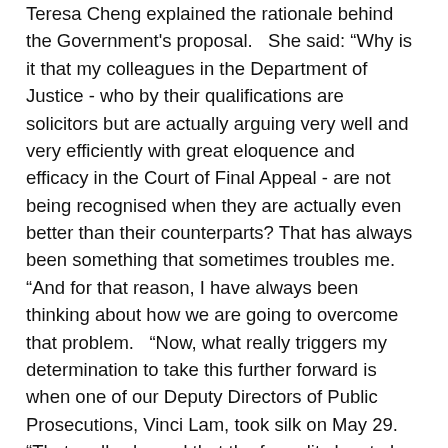Teresa Cheng explained the rationale behind the Government's proposal.  She said: "Why is it that my colleagues in the Department of Justice - who by their qualifications are solicitors but are actually arguing very well and very efficiently with great eloquence and efficacy in the Court of Final Appeal - are not being recognised when they are actually even better than their counterparts? That has always been something that sometimes troubles me.  "And for that reason, I have always been thinking about how we are going to overcome that problem.  "Now, what really triggers my determination to take this further forward is when one of our Deputy Directors of Public Prosecutions, Vinci Lam, took silk on May 29.  "That really showed that the formality has to be done away with so that in all fairness to those of my colleagues who are having great efficacy with the requisite requirements as provided in section 31A of the Legal Practitioners Ordinance, they will have the same chance of being considered to be granted this particular recognition that the society as a whole will cherish."  Ms Cheng added that the proposal will not change the